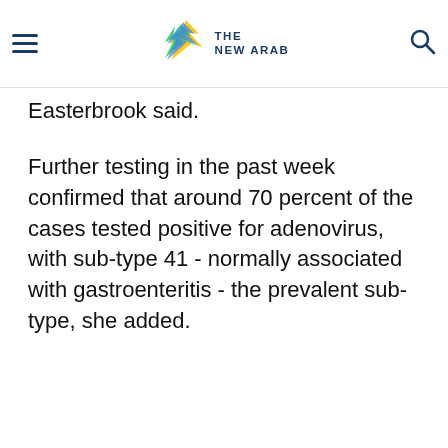THE NEW ARAB
Easterbrook said.
Further testing in the past week confirmed that around 70 percent of the cases tested positive for adenovirus, with sub-type 41 - normally associated with gastroenteritis - the prevalent sub-type, she added.
Testing also showed that around 18 percent of
[Figure (other): Social media icon bar with Instagram, Facebook, Twitter/X, YouTube, RSS, and X icons on dark navy background]
"The big focus over the next week is looking at serological testing for previous exposure and infections with Covid," said Easterbrook.
Privacy Policy | Terms of Use | Sitemap
Most Viewed ^